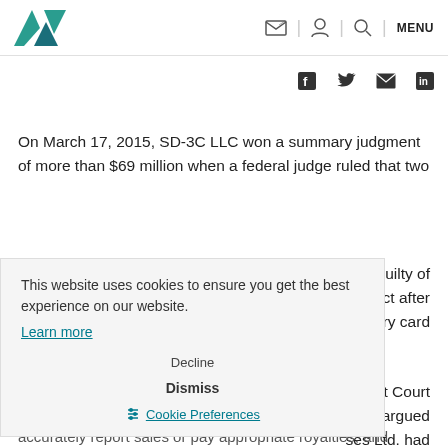Marks & Clerk logo and navigation bar with email, profile, search icons and MENU
[Figure (screenshot): Social media share icons: Facebook, Twitter, email, LinkedIn]
On March 17, 2015, SD-3C LLC won a summary judgment of more than $69 million when a federal judge ruled that two Chinese companies and four of their officers were guilty of breaching contract and tortious interference with contract after they had sold large quantities of unlicensed memory card products manufactured by the infringing companies. The managing director of SD-3C successfully argued before the US District Court for the Northern District of California. SD-3C successfully argued that Phoebe Micro Inc. and Saramount Enterprises Ltd. had entered into licence agreements with SD-3C, did not accurately report sales or pay appropriate royalties, and
This website uses cookies to ensure you get the best experience on our website.
Learn more
Decline
Dismiss
Cookie Preferences